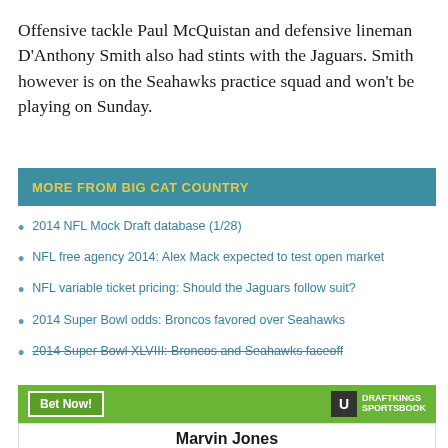Offensive tackle Paul McQuistan and defensive lineman D'Anthony Smith also had stints with the Jaguars. Smith however is on the Seahawks practice squad and won't be playing on Sunday.
MORE FROM BIG CAT COUNTRY
2014 NFL Mock Draft database (1/28)
NFL free agency 2014: Alex Mack expected to test open market
NFL variable ticket pricing: Should the Jaguars follow suit?
2014 Super Bowl odds: Broncos favored over Seahawks
2014 Super Bowl XLVIII: Broncos and Seahawks faceoff
[Figure (other): DraftKings Sportsbook advertisement bar with Bet Now button and DraftKings logo]
Marvin Jones
To win MVP   +50000